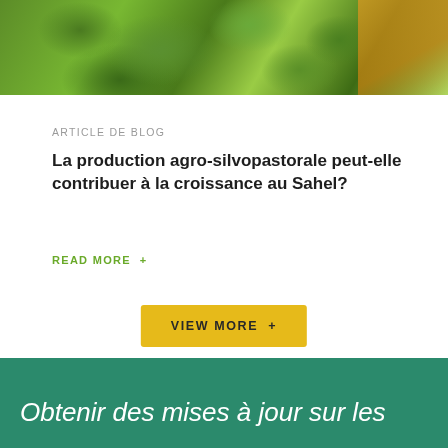[Figure (photo): Photo of green leafy plants with a person wearing a yellow headscarf visible in the upper right corner]
ARTICLE DE BLOG
La production agro-silvopastorale peut-elle contribuer à la croissance au Sahel?
READ MORE +
VIEW MORE +
Obtenir des mises à jour sur les